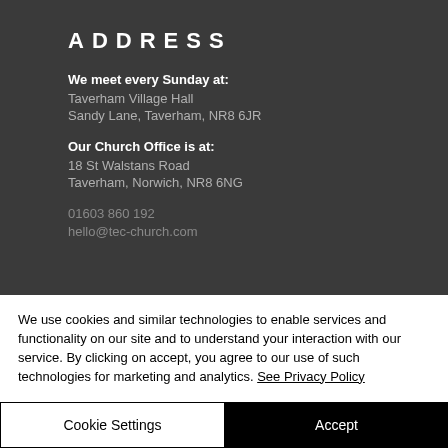ADDRESS
We meet every Sunday at:
Taverham Village Hall
Sandy Lane, Taverham, NR8 6JR
Our Church Office is at:
18 St Walstans Road
Taverham, Norwich, NR8 6NG
01603 860 192
hello@tec-church.com
We use cookies and similar technologies to enable services and functionality on our site and to understand your interaction with our service. By clicking on accept, you agree to our use of such technologies for marketing and analytics. See Privacy Policy